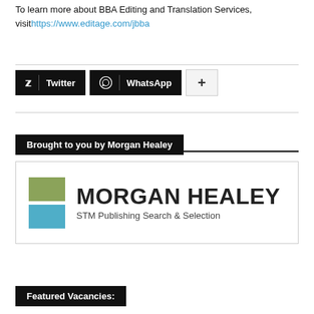To learn more about BBA Editing and Translation Services, visit https://www.editage.com/jbba
[Figure (infographic): Social sharing buttons: Twitter (black), WhatsApp (black), and a plus button (light gray)]
Brought to you by Morgan Healey
[Figure (logo): Morgan Healey logo with two colored squares (olive green and teal blue) and text 'MORGAN HEALEY STM Publishing Search & Selection']
Featured Vacancies: